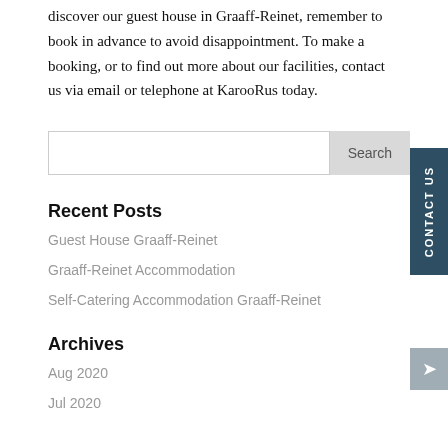discover our guest house in Graaff-Reinet, remember to book in advance to avoid disappointment. To make a booking, or to find out more about our facilities, contact us via email or telephone at KarooRus today.
Search
Recent Posts
Guest House Graaff-Reinet
Graaff-Reinet Accommodation
Self-Catering Accommodation Graaff-Reinet
Archives
Aug 2020
Jul 2020
CONTACT US